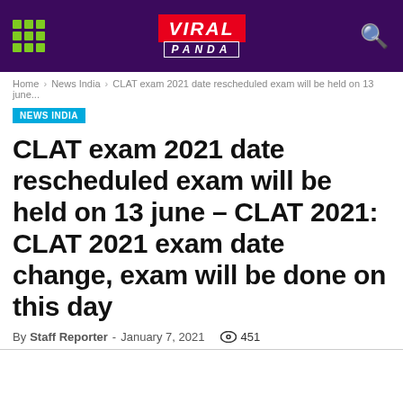VIRAL PANDA
Home > News India > CLAT exam 2021 date rescheduled exam will be held on 13 june...
NEWS INDIA
CLAT exam 2021 date rescheduled exam will be held on 13 june – CLAT 2021: CLAT 2021 exam date change, exam will be done on this day
By Staff Reporter - January 7, 2021  451